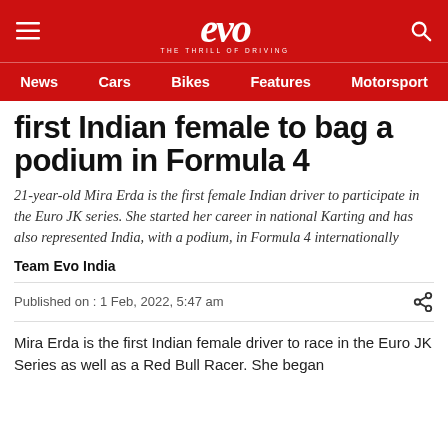evo — THE THRILL OF DRIVING
News | Cars | Bikes | Features | Motorsport
first Indian female to bag a podium in Formula 4
21-year-old Mira Erda is the first female Indian driver to participate in the Euro JK series. She started her career in national Karting and has also represented India, with a podium, in Formula 4 internationally
Team Evo India
Published on : 1 Feb, 2022, 5:47 am
Mira Erda is the first Indian female driver to race in the Euro JK Series as well as a Red Bull Racer. She began